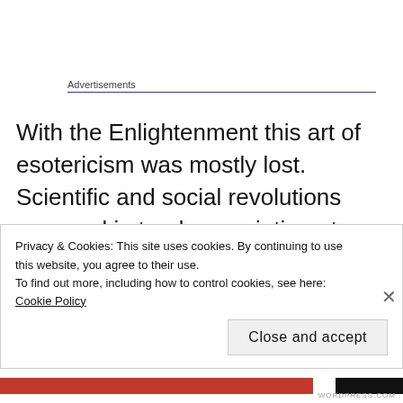Advertisements
With the Enlightenment this art of esotericism was mostly lost. Scientific and social revolutions occurred in tandem, pointing at a natural harmony between theory and practice. Marx declared that the purpose of philosophy was not to interpret the world, but to change it. The tragedies of mass “social
Privacy & Cookies: This site uses cookies. By continuing to use this website, you agree to their use.
To find out more, including how to control cookies, see here: Cookie Policy
Close and accept